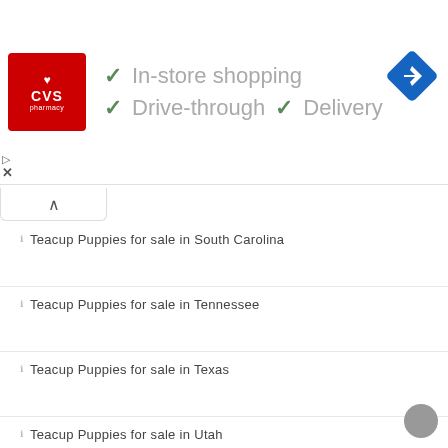[Figure (screenshot): CVS Pharmacy advertisement banner showing In-store shopping, Drive-through, and Delivery options with checkmarks, plus a navigation arrow icon]
Teacup Puppies for sale in South Carolina
Teacup Puppies for sale in Tennessee
Teacup Puppies for sale in Texas
Teacup Puppies for sale in Utah
Teacup Puppies for sale in Virginia
Teacup Puppies for sale in Washington
Teacup Puppies for sale in Wisconsin